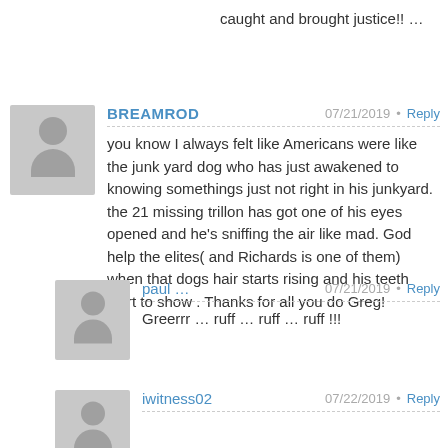caught and brought justice!! …
BREAMROD 07/21/2019 • Reply
you know I always felt like Americans were like the junk yard dog who has just awakened to knowing somethings just not right in his junkyard. the 21 missing trillon has got one of his eyes opened and he's sniffing the air like mad. God help the elites( and Richards is one of them) when that dogs hair starts rising and his teeth start to show . Thanks for all you do Greg!
paul ... 07/21/2019 • Reply
Greerrr … ruff … ruff … ruff !!!
iwitness02 07/22/2019 • Reply